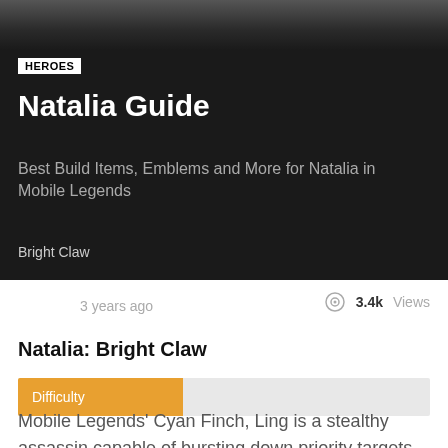[Figure (photo): Dark banner background with blurred game screenshot at top]
HEROES
Natalia Guide
Best Build Items, Emblems and More for Natalia in Mobile Legends
Bright Claw
3 years ago
3.4k Views
Natalia: Bright Claw
Difficulty
Mobile Legends’ Cyan Finch, Ling is a stealthy assassin capable of bursting down priority targets.